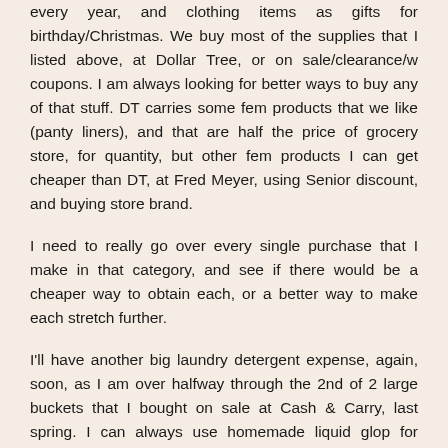every year, and clothing items as gifts for birthday/Christmas. We buy most of the supplies that I listed above, at Dollar Tree, or on sale/clearance/w coupons. I am always looking for better ways to buy any of that stuff. DT carries some fem products that we like (panty liners), and that are half the price of grocery store, for quantity, but other fem products I can get cheaper than DT, at Fred Meyer, using Senior discount, and buying store brand.
I need to really go over every single purchase that I make in that category, and see if there would be a cheaper way to obtain each, or a better way to make each stretch further.
I'll have another big laundry detergent expense, again, soon, as I am over halfway through the 2nd of 2 large buckets that I bought on sale at Cash & Carry, last spring. I can always use homemade liquid glop for laundry soap, while I wait for a good sale, again.